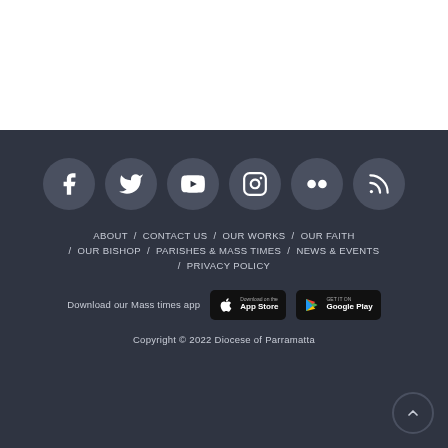[Figure (other): White top section with horizontal divider line]
[Figure (infographic): Row of 6 social media icon circles: Facebook, Twitter, YouTube, Instagram, Flickr, RSS on dark background]
ABOUT / CONTACT US / OUR WORKS / OUR FAITH / OUR BISHOP / PARISHES & MASS TIMES / NEWS & EVENTS / PRIVACY POLICY
Download our Mass times app
Copyright © 2022 Diocese of Parramatta